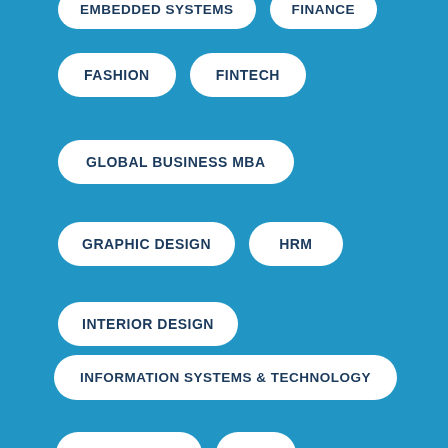EMBEDDED SYSTEMS
FINANCE
FASHION
FINTECH
GLOBAL BUSINESS MBA
GRAPHIC DESIGN
HRM
INTERIOR DESIGN
INFORMATION SYSTEMS & TECHNOLOGY
JOURNALISM
LAW
MANAGEMENT
MEDIA
NURSING